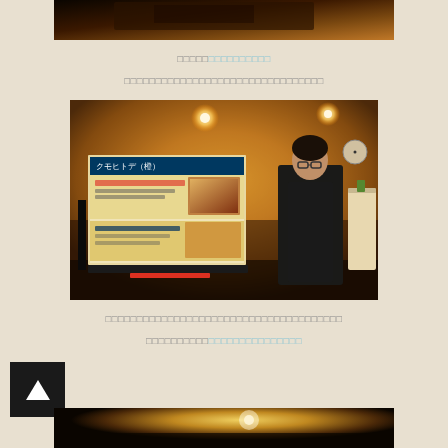[Figure (photo): Top strip of a photo showing a presentation/event room with warm orange lighting, partially visible]
□□□□□□□□□□□□□□□ (Japanese text with hyperlink portion highlighted in blue)
□□□□□□□□□□□□□□□□□□□□□□□□□□□□
[Figure (photo): Photo of a man in dark clothing standing next to a projection screen showing a Japanese presentation slide with text クモヒトデ (scarlet) and images, in a room with warm orange/yellow wallpaper and lights]
□□□□□□□□□□□□□□□□□□□□□□□□□□□□□□□□□□
□□□□□□□□□□□□□□□□□□□□□□□□ (partially highlighted in blue)
[Figure (photo): Bottom strip of a photo showing the same warm-lit room, partially visible]